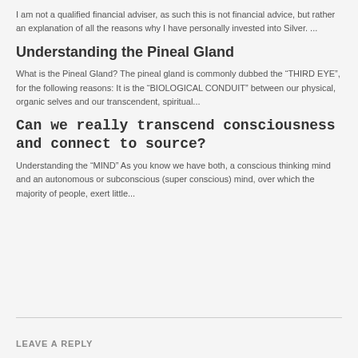I am not a qualified financial adviser, as such this is not financial advice, but rather an explanation of all the reasons why I have personally invested into Silver. ...
Understanding the Pineal Gland
What is the Pineal Gland? The pineal gland is commonly dubbed the “THIRD EYE”, for the following reasons: It is the “BIOLOGICAL CONDUIT” between our physical, organic selves and our transcendent, spiritual...
Can we really transcend consciousness and connect to source?
Understanding the “MIND” As you know we have both, a conscious thinking mind and an autonomous or subconscious (super conscious) mind, over which the majority of people, exert little...
LEAVE A REPLY